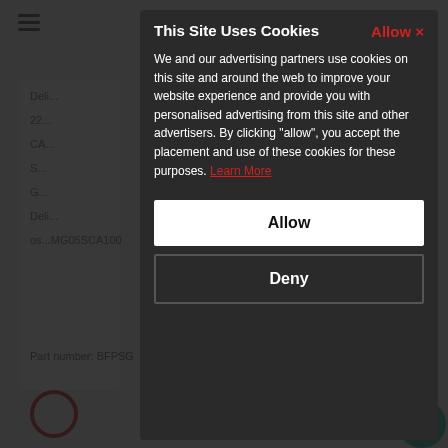[Figure (screenshot): A website screenshot showing a cookie consent modal overlay on a dark background. The modal has a dark background with a title 'This Site Uses Cookies', an 'Allow x' button in red at the top right, body text explaining cookie usage with a 'Learn More' link, and two buttons: 'Allow' (white) and 'Deny' (dark with border). Behind the overlay, a partially visible webpage with a hamburger menu, list items, and product information is shown.]
This Site Uses Cookies
We and our advertising partners use cookies on this site and around the web to improve your website experience and provide you with personalised advertising from this site and other advertisers. By clicking "allow", you accept the placement and use of these cookies for these purposes. Learn More